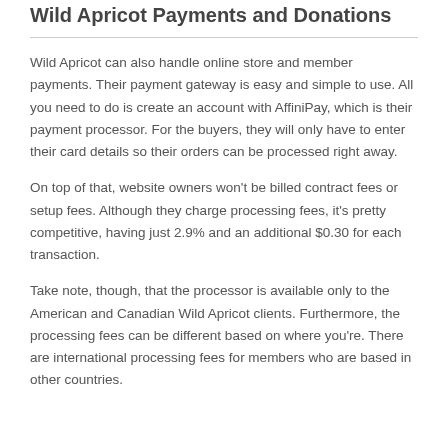Wild Apricot Payments and Donations
Wild Apricot can also handle online store and member payments. Their payment gateway is easy and simple to use. All you need to do is create an account with AffiniPay, which is their payment processor. For the buyers, they will only have to enter their card details so their orders can be processed right away.
On top of that, website owners won't be billed contract fees or setup fees. Although they charge processing fees, it's pretty competitive, having just 2.9% and an additional $0.30 for each transaction.
Take note, though, that the processor is available only to the American and Canadian Wild Apricot clients. Furthermore, the processing fees can be different based on where you're. There are international processing fees for members who are based in other countries.